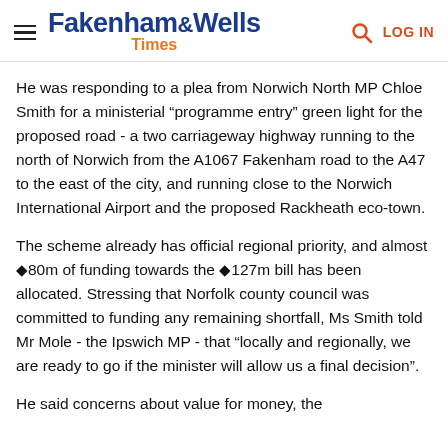Fakenham & Wells Times
He was responding to a plea from Norwich North MP Chloe Smith for a ministerial “programme entry” green light for the proposed road - a two carriageway highway running to the north of Norwich from the A1067 Fakenham road to the A47 to the east of the city, and running close to the Norwich International Airport and the proposed Rackheath eco-town.
The scheme already has official regional priority, and almost €80m of funding towards the €127m bill has been allocated. Stressing that Norfolk county council was committed to funding any remaining shortfall, Ms Smith told Mr Mole - the Ipswich MP - that “locally and regionally, we are ready to go if the minister will allow us a final decision”.
He said concerns about value for money, the